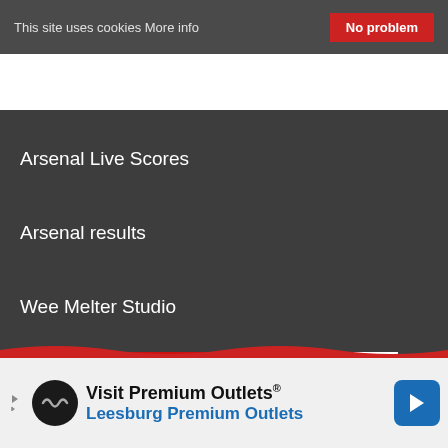This site uses cookies More info
No problem
Arsenal Live Scores
Arsenal results
Wee Melter Studio
[Figure (other): DON'T MISS advertisement banner for Daily Cannon and Daily Cannon Reloaded podcast]
[Figure (other): Visit Premium Outlets - Leesburg Premium Outlets bottom advertisement banner]